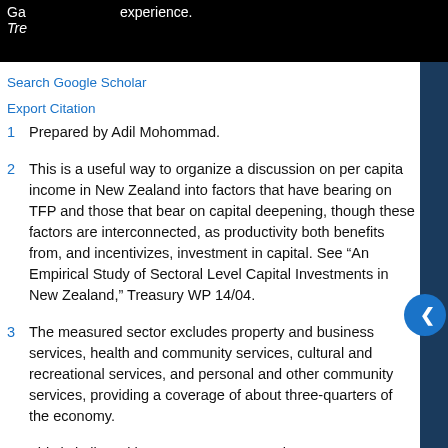Ga... experience. Tre...
Search Google Scholar
Export Citation
1 Prepared by Adil Mohommad.
2 This is a useful way to organize a discussion on per capita income in New Zealand into factors that have bearing on TFP and those that bear on capital deepening, though these factors are interconnected, as productivity both benefits from, and incentivizes, investment in capital. See “An Empirical Study of Sectoral Level Capital Investments in New Zealand,” Treasury WP 14/04.
3 The measured sector excludes property and business services, health and community services, cultural and recreational services, and personal and other community services, providing a coverage of about three-quarters of the economy.
4 This is in line with a recent Treasury estimate; see Treasury Working Paper 14/01.